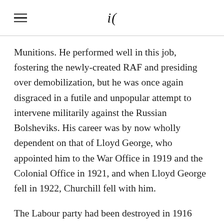iA
Munitions. He performed well in this job, fostering the newly-created RAF and presiding over demobilization, but he was once again disgraced in a futile and unpopular attempt to intervene militarily against the Russian Bolsheviks. His career was by now wholly dependent on that of Lloyd George, who appointed him to the War Office in 1919 and the Colonial Office in 1921, and when Lloyd George fell in 1922, Churchill fell with him.
The Labour party had been destroyed in 1916 along with Asquith, its leader, and the Conservatives feared, despised, and would, at least for the